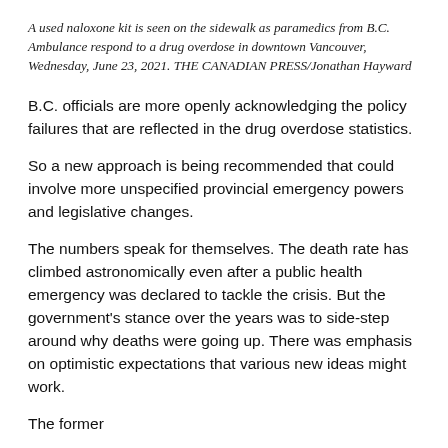A used naloxone kit is seen on the sidewalk as paramedics from B.C. Ambulance respond to a drug overdose in downtown Vancouver, Wednesday, June 23, 2021. THE CANADIAN PRESS/Jonathan Hayward
B.C. officials are more openly acknowledging the policy failures that are reflected in the drug overdose statistics.
So a new approach is being recommended that could involve more unspecified provincial emergency powers and legislative changes.
The numbers speak for themselves. The death rate has climbed astronomically even after a public health emergency was declared to tackle the crisis. But the government's stance over the years was to side-step around why deaths were going up. There was emphasis on optimistic expectations that various new ideas might work.
The former...